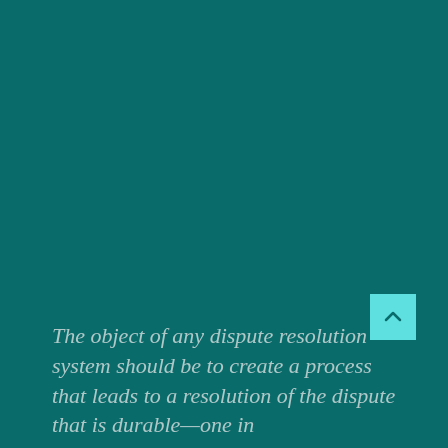The object of any dispute resolution system should be to create a process that leads to a resolution of the dispute that is durable—one in which the parties accept, fairly and durably,